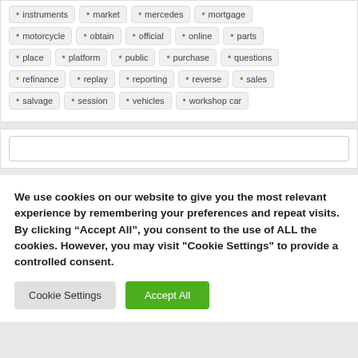instruments
market
mercedes
mortgage
motorcycle
obtain
official
online
parts
place
platform
public
purchase
questions
refinance
replay
reporting
reverse
sales
salvage
session
vehicles
workshop car
We use cookies on our website to give you the most relevant experience by remembering your preferences and repeat visits. By clicking “Accept All”, you consent to the use of ALL the cookies. However, you may visit "Cookie Settings" to provide a controlled consent.